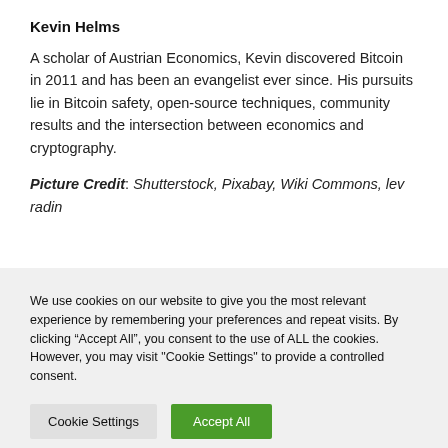Kevin Helms
A scholar of Austrian Economics, Kevin discovered Bitcoin in 2011 and has been an evangelist ever since. His pursuits lie in Bitcoin safety, open-source techniques, community results and the intersection between economics and cryptography.
Picture Credit: Shutterstock, Pixabay, Wiki Commons, lev radin
We use cookies on our website to give you the most relevant experience by remembering your preferences and repeat visits. By clicking “Accept All”, you consent to the use of ALL the cookies. However, you may visit "Cookie Settings" to provide a controlled consent.